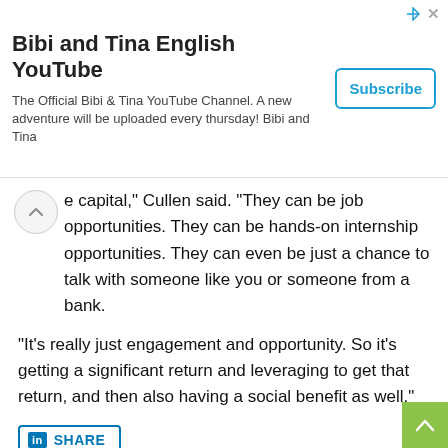[Figure (screenshot): Advertisement banner for Bibi and Tina English YouTube channel with Subscribe button]
e capital,” Cullen said. “They can be job opportunities. They can be hands-on internship opportunities. They can even be just a chance to talk with someone like you or someone from a bank.
“It’s really just engagement and opportunity. So it’s getting a significant return and leveraging to get that return, and then also having a social benefit as well.”
[Figure (screenshot): LinkedIn Share button]
[Figure (screenshot): Share on Facebook button]
[Figure (screenshot): Share on Twitter button]